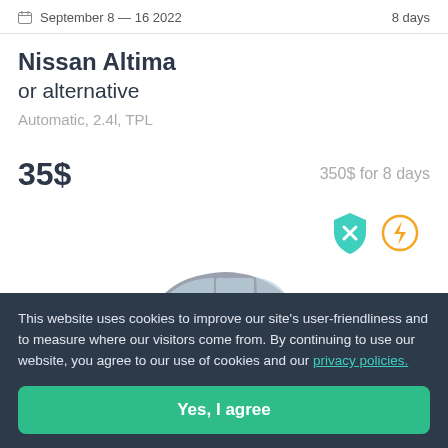September 8 — 16 2022   8 days
Nissan Altima or alternative
Automatic, 2.4l, TPL
35$   350$ for 8 days
[Figure (illustration): Teal shield icon with X mark and orange circle icon with lightning bolt]
[Figure (photo): Dark gray sedan car viewed from the side, partially visible]
This website uses cookies to improve our site's user-friendliness and to measure where our visitors come from. By continuing to use our website, you agree to our use of cookies and our privacy policies.
Yes, I agree